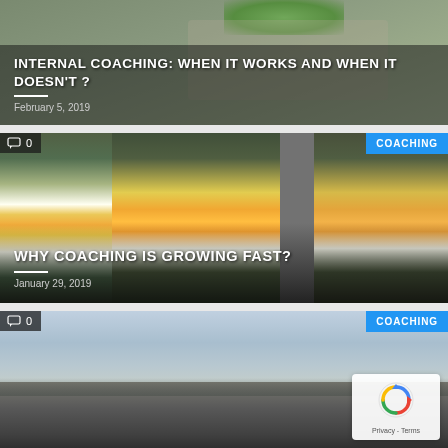[Figure (photo): Top portion of a blog card with plant/leaves image and text overlay showing article title and date]
INTERNAL COACHING: WHEN IT WORKS AND WHEN IT DOESN'T ?
February 5, 2019
[Figure (photo): Blog card with photo of tulips and flowers through window panes, with COACHING badge and comment count]
WHY COACHING IS GROWING FAST?
January 29, 2019
[Figure (photo): Blog card with landscape/sky photo, COACHING badge, comment count badge, and reCAPTCHA widget in bottom right]